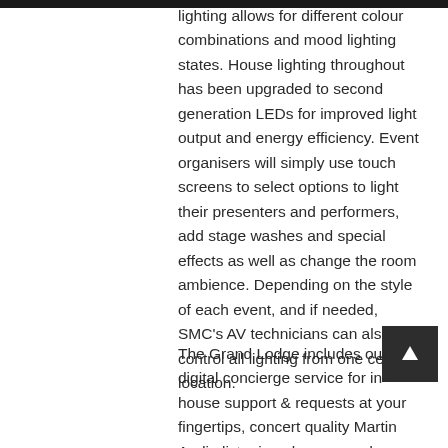lighting allows for different colour combinations and mood lighting states. House lighting throughout has been upgraded to second generation LEDs for improved light output and energy efficiency. Event organisers will simply use touch screens to select options to light their presenters and performers, add stage washes and special effects as well as change the room ambience. Depending on the style of each event, and if needed, SMC's AV technicians can also control all lighting from one central location.
The Grand Lodge includes our digital concierge service for in-house support & requests at your fingertips, concert quality Martin Audio listening pleasure and...